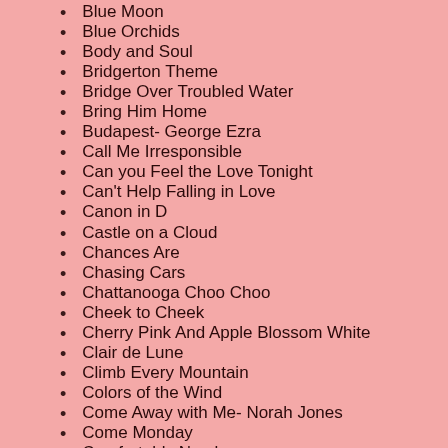Blue Moon
Blue Orchids
Body and Soul
Bridgerton Theme
Bridge Over Troubled Water
Bring Him Home
Budapest- George Ezra
Call Me Irresponsible
Can you Feel the Love Tonight
Can't Help Falling in Love
Canon in D
Castle on a Cloud
Chances Are
Chasing Cars
Chattanooga Choo Choo
Cheek to Cheek
Cherry Pink And Apple Blossom White
Clair de Lune
Climb Every Mountain
Colors of the Wind
Come Away with Me- Norah Jones
Come Monday
Comfortably Numb
Con te Partiro (Time to Say Goodbye)
Count on Me- Whitney Houston
Cry...